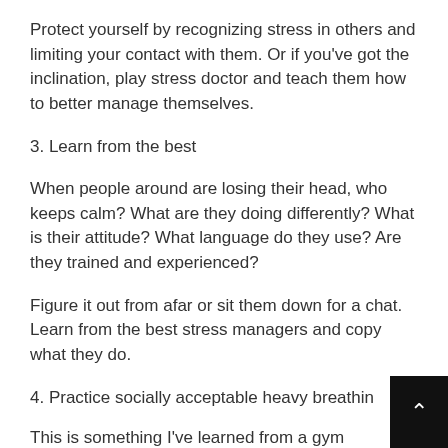Protect yourself by recognizing stress in others and limiting your contact with them. Or if you've got the inclination, play stress doctor and teach them how to better manage themselves.
3. Learn from the best
When people around are losing their head, who keeps calm? What are they doing differently? What is their attitude? What language do they use? Are they trained and experienced?
Figure it out from afar or sit them down for a chat. Learn from the best stress managers and copy what they do.
4. Practice socially acceptable heavy breathing
This is something I've learned from a gym